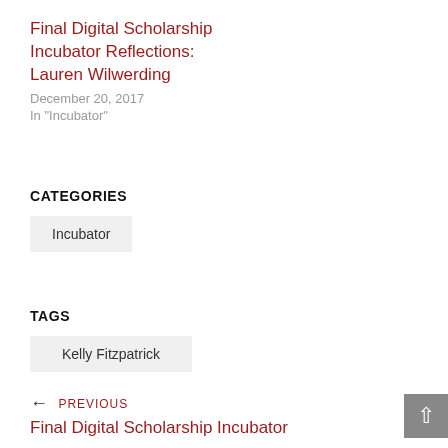Final Digital Scholarship Incubator Reflections: Lauren Wilwerding
December 20, 2017
In "Incubator"
CATEGORIES
Incubator
TAGS
Kelly Fitzpatrick
PREVIOUS
Final Digital Scholarship Incubator